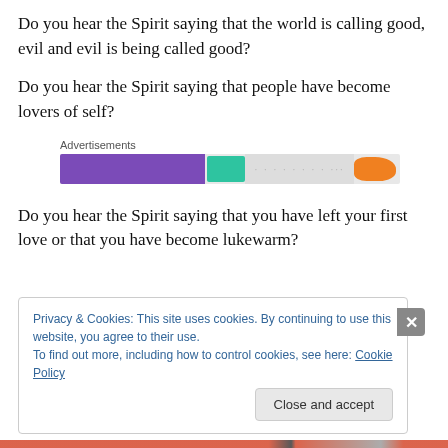Do you hear the Spirit saying that the world is calling good, evil and evil is being called good?
Do you hear the Spirit saying that people have become lovers of self?
[Figure (other): Advertisements banner with purple, teal, and orange colored blocks on a gray background]
Do you hear the Spirit saying that you have left your first love or that you have become lukewarm?
Privacy & Cookies: This site uses cookies. By continuing to use this website, you agree to their use.
To find out more, including how to control cookies, see here: Cookie Policy